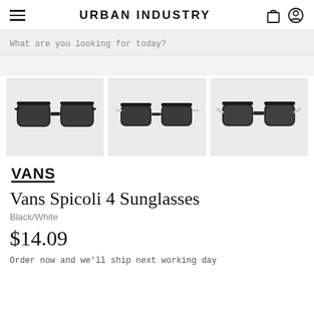URBAN INDUSTRY
What are you looking for today?
[Figure (photo): Three product photos of Vans Spicoli 4 Sunglasses in Black/White colorway: front view, side view, and rear/angle view]
[Figure (logo): Vans logo (stylized VANS with underline)]
Vans Spicoli 4 Sunglasses
Black/White
$14.09
Order now and we'll ship next working day